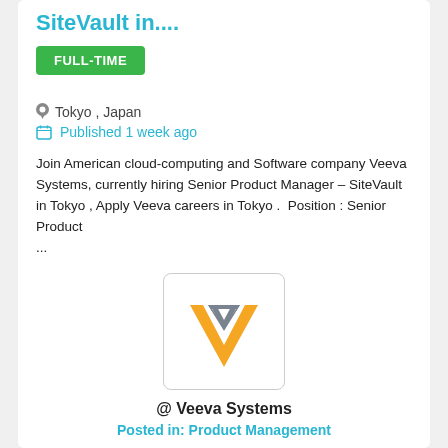SiteVault in....
FULL-TIME
Tokyo , Japan
Published 1 week ago
Join American cloud-computing and Software company Veeva Systems, currently hiring Senior Product Manager – SiteVault in Tokyo , Apply Veeva careers in Tokyo .  Position : Senior Product …
[Figure (logo): Veeva Systems logo — orange V shape with grey triangle top]
@ Veeva Systems
Posted in: Product Management
Save job